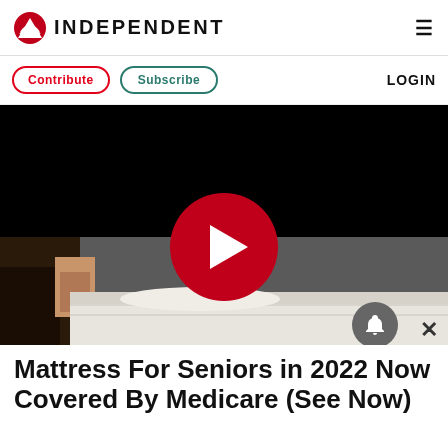INDEPENDENT
Contribute   Subscribe   LOGIN
[Figure (screenshot): Video player with black background showing a person lying on a white mattress, with a large red circular play button in the center]
Mattress For Seniors in 2022 Now Covered By Medicare (See Now)